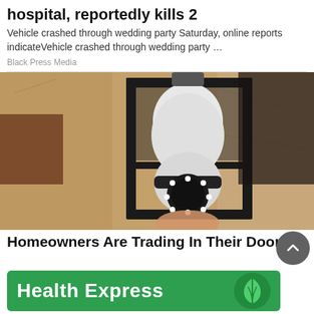hospital, reportedly kills 2
Vehicle crashed through wedding party Saturday, online reports indicateVehicle crashed through wedding party …
Black Press Media
[Figure (photo): A light-bulb-shaped security camera being installed in an outdoor lantern-style light fixture mounted on a rough stucco wall.]
Homeowners Are Trading In Their Doorb…
[Figure (other): Health Express advertisement banner with green background and leaf logo]